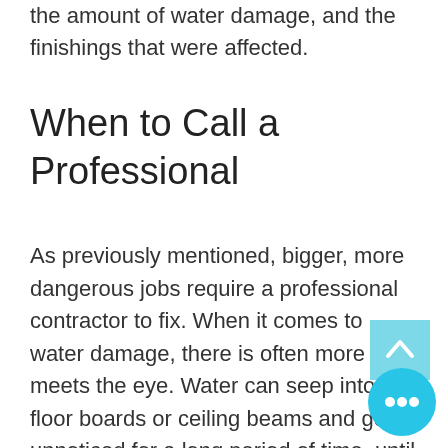the amount of water damage, and the finishings that were affected.
When to Call a Professional
As previously mentioned, bigger, more dangerous jobs require a professional contractor to fix. When it comes to water damage, there is often more than meets the eye. Water can seep into floor boards or ceiling beams and go unnoticed for a long period of time, until the materials slowly rot away. We recommend always having a pro come through to inspect the da… and see if it is truly just a minor problem. Might it be a good idea to...